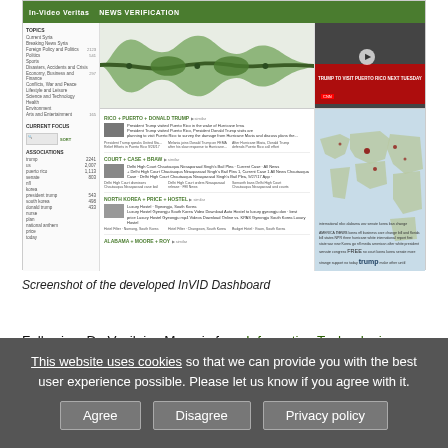[Figure (screenshot): Screenshot of the InVID News Verification dashboard showing a sidebar with topics, a waveform/timeline visualization, news story clusters with thumbnails, a video still of Trump, and a world map with markers.]
Screenshot of the developed InVID Dashboard
Following, Dr. Vasileios Mezaris from Information Technologies Institute of the Centre for Research and Technology Hellas will focus on the necessity to evaluate the trustworthiness of user-generated
This website uses cookies so that we can provide you with the best user experience possible. Please let us know if you agree with it.